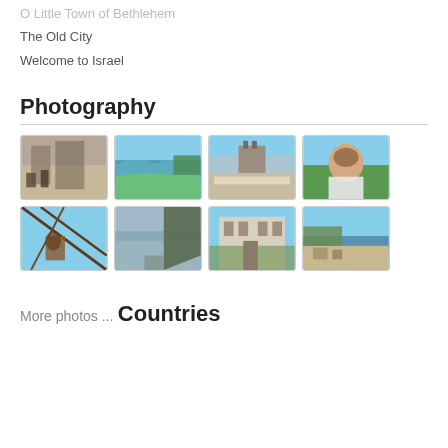O Little Town of Bethlehem
The Old City
Welcome to Israel
Photography
[Figure (photo): Grid of 8 travel/photography thumbnail images in 2 rows of 4]
More photos ...
Countries